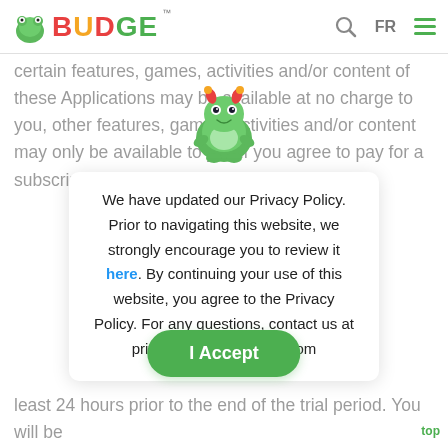BUDGE
certain features, games, activities and/or content of these Applications may be available at no charge to you, other features, games, activities and/or content may only be available to you if you agree to pay for a subscription plan.
[Figure (illustration): Budge Studios green dragon mascot character with red horns and headphones]
We have updated our Privacy Policy. Prior to navigating this website, we strongly encourage you to review it here. By continuing your use of this website, you agree to the Privacy Policy. For any questions, contact us at privacy@budgestudios.com
I Accept
least 24 hours prior to the end of the trial period. You will be